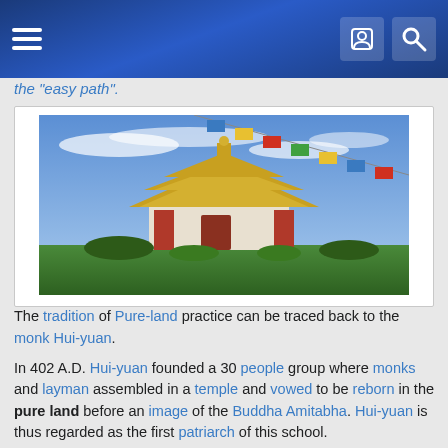[navigation header with hamburger menu, user icon, search icon]
the "easy path".
[Figure (photo): A Buddhist temple with golden roof and prayer flags against a blue sky with wispy clouds, surrounded by gardens]
The tradition of Pure-land practice can be traced back to the monk Hui-yuan.
In 402 A.D. Hui-yuan founded a 30 people group where monks and layman assembled in a temple and vowed to be reborn in the pure land before an image of the Buddha Amitabha. Hui-yuan is thus regarded as the first patriarch of this school.
The second patriarch Tan-luan (476-542) contributed considerably to the development of the Pure-land school.